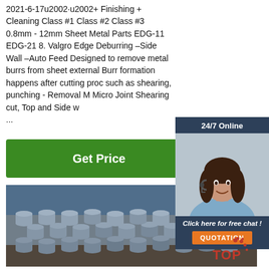2021-6-17u2002·u2002+ Finishing + Cleaning Class #1 Class #2 Class #3 0.8mm - 12mm Sheet Metal Parts EDG-11 EDG-21 8. Valgro Edge Deburring –Side Wall –Auto Feed Designed to remove metal burrs from sheet external Burr formation happens after cutting proc such as shearing, punching - Removal M Micro Joint Shearing cut, Top and Side w ...
[Figure (photo): Customer service representative / chat widget with '24/7 Online' header, photo of woman with headset, 'Click here for free chat!' text, and orange QUOTATION button]
[Figure (photo): Green 'Get Price' button]
[Figure (photo): Photo of bundled steel rods/bars stacked in a yard with blue building in background, with TOP logo watermark in lower right corner]